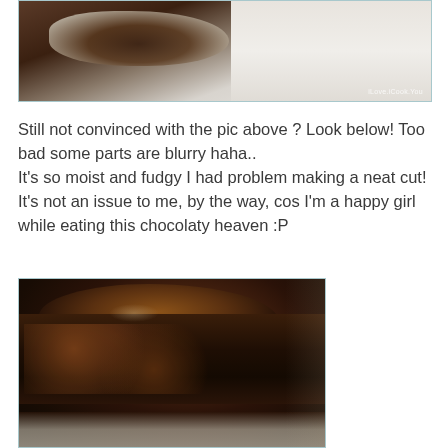[Figure (photo): Close-up photo of chocolate brownies on a white plate, partially cropped. Watermark reads 'iLove.iCook.You' in bottom right corner.]
Still not convinced with the pic above ? Look below! Too bad some parts are blurry haha..
It's so moist and fudgy I had problem making a neat cut! It's not an issue to me, by the way, cos I'm a happy girl while eating this chocolaty heaven :P
[Figure (photo): Close-up macro photo of a fudgy chocolate brownie showing its moist and dense texture, with crumbly edges and shiny top. Photo is partially blurry.]